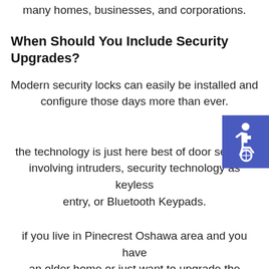many homes, businesses, and corporations.
When Should You Include Security Upgrades?
Modern security locks can easily be installed and configure those days more than ever.
[Figure (illustration): Accessibility icon - white wheelchair symbol on blue/purple square background]
the technology is just here best of door security involving intruders, security technology as keyless entry, or Bluetooth Keypads.
if you live in Pinecrest Oshawa area and you have an older home or just want to upgrade the security on your property home, business, industrial warehouse any property you own.
its time to contact Pinecrest Oshawa Ontario